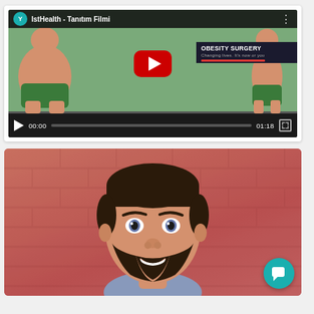[Figure (screenshot): YouTube video player showing 'IstHealth - Tanıtım Filmi' video with obesity surgery before/after content, play button, time 00:00 / 01:18]
[Figure (photo): Smiling bearded man in front of a red brick wall background, with a teal chat bubble icon in the bottom right corner]